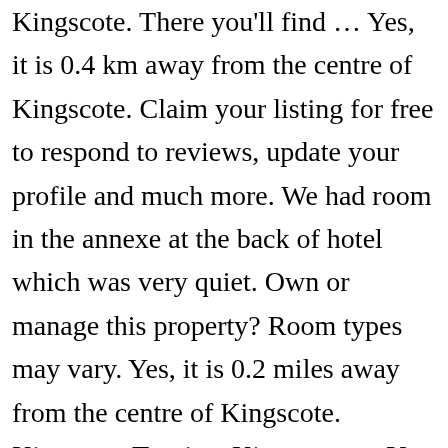Kingscote. There you'll find … Yes, it is 0.4 km away from the centre of Kingscote. Claim your listing for free to respond to reviews, update your profile and much more. We had room in the annexe at the back of hotel which was very quiet. Own or manage this property? Room types may vary. Yes, it is 0.2 miles away from the centre of Kingscote. Kingscote Tourism Kingscote … Yes, free parking is available to guests. We would definitely stay there again. All linens sanitized in high-temperature wash, Face masks required for staff in public areas, Hand sanitizer available to